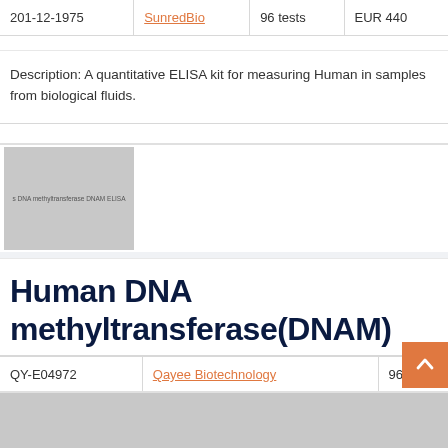| ID | Supplier | Quantity | Price |
| --- | --- | --- | --- |
| 201-12-1975 | SunredBio | 96 tests | EUR 440 |
Description: A quantitative ELISA kit for measuring Human in samples from biological fluids.
[Figure (photo): Product image placeholder for DNA methyltransferase DNAM ELISA kit]
Human DNA methyltransferase(DNAM) Kit
| ID | Supplier | Quantity |
| --- | --- | --- |
| QY-E04972 | Qayee Biotechnology | 96T |
[Figure (photo): Partial product image at bottom of page]